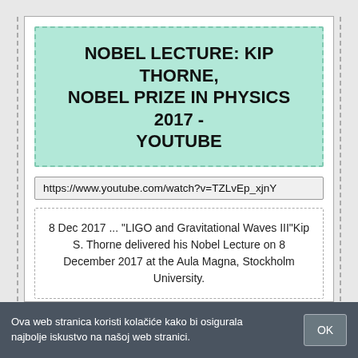NOBEL LECTURE: KIP THORNE, NOBEL PRIZE IN PHYSICS 2017 - YOUTUBE
https://www.youtube.com/watch?v=TZLvEp_xjnY
8 Dec 2017 ... "LIGO and Gravitational Waves III"Kip S. Thorne delivered his Nobel Lecture on 8 December 2017 at the Aula Magna, Stockholm University.
ONLINE
Ova web stranica koristi kolačiće kako bi osigurala najbolje iskustvo na našoj web stranici.
OK